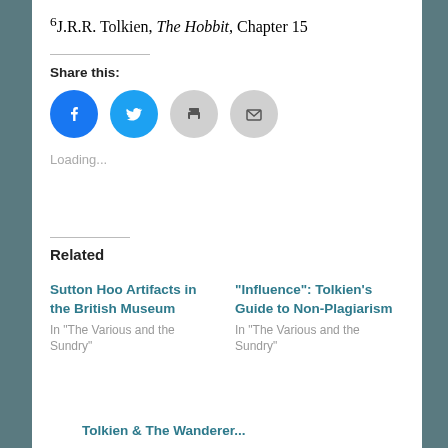6J.R.R. Tolkien, The Hobbit, Chapter 15
Share this:
[Figure (other): Four social share icon circles: Facebook (blue), Twitter (blue), Print (grey), Email (grey)]
Loading...
Related
Sutton Hoo Artifacts in the British Museum
In "The Various and the Sundry"
"Influence": Tolkien's Guide to Non-Plagiarism
In "The Various and the Sundry"
Tolkien & The Wanderer...